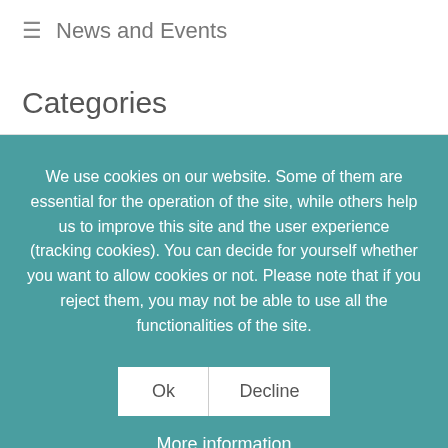≡ News and Events
Categories
We use cookies on our website. Some of them are essential for the operation of the site, while others help us to improve this site and the user experience (tracking cookies). You can decide for yourself whether you want to allow cookies or not. Please note that if you reject them, you may not be able to use all the functionalities of the site.
Ok  Decline
More information